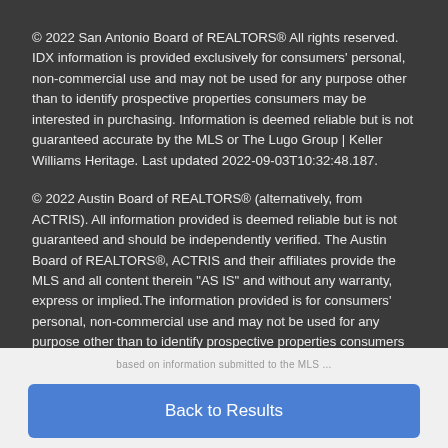© 2022 San Antonio Board of REALTORS® All rights reserved. IDX information is provided exclusively for consumers' personal, non-commercial use and may not be used for any purpose other than to identify prospective properties consumers may be interested in purchasing. Information is deemed reliable but is not guaranteed accurate by the MLS or The Lugo Group | Keller Williams Heritage. Last updated 2022-09-03T10:32:48.187.
© 2022 Austin Board of REALTORS® (alternatively, from ACTRIS). All information provided is deemed reliable but is not guaranteed and should be independently verified. The Austin Board of REALTORS®, ACTRIS and their affiliates provide the MLS and all content therein "AS IS" and without any warranty, express or implied.The information provided is for consumers' personal, non-commercial use and may not be used for any purpose other than to identify prospective properties consumers may be interested in
based on information submitted to the MLS ...